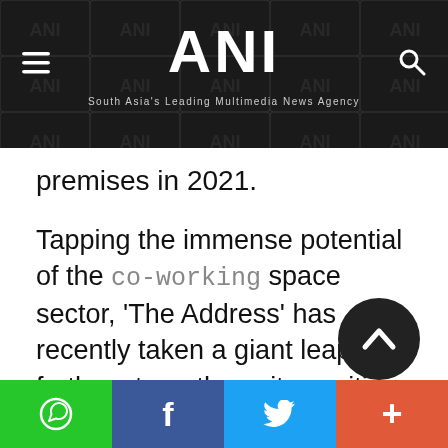ANI — South Asia's Leading Multimedia News Agency
premises in 2021.
Tapping the immense potential of the co-working space sector, 'The Address' has recently taken a giant leap that further strengthens its position in this rapidly growing business in India. 'The Address', one of the leading players in tier-1 & 2 focused, tech-enabled co-working and managed office spaces, has recently added 2,00,000 sq. ft. co-working spaces from its...
Social share buttons: WhatsApp, Facebook, Twitter, More